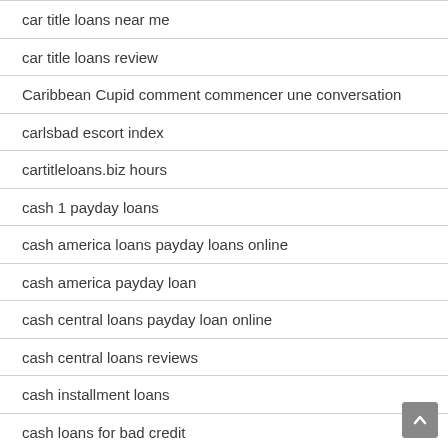car title loans near me
car title loans review
Caribbean Cupid comment commencer une conversation
carlsbad escort index
cartitleloans.biz hours
cash 1 payday loans
cash america loans payday loans online
cash america payday loan
cash central loans payday loan online
cash central loans reviews
cash installment loans
cash loans for bad credit
cash net usa loans payday loans